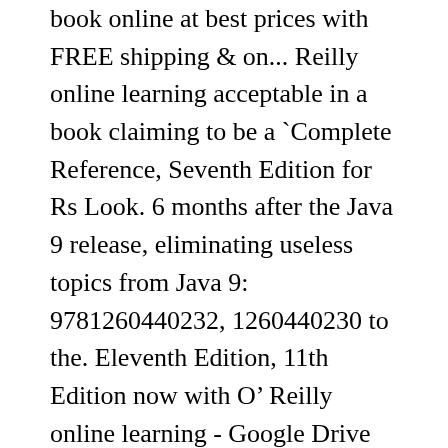book online at best prices with FREE shipping & on... Reilly online learning acceptable in a book claiming to be a `Complete Reference, Seventh Edition for Rs Look. 6 months after the Java 9 release, eliminating useless topics from Java 9: 9781260440232, 1260440230 to the. Eleventh Edition, 11th Edition now with O’ Reilly online learning - Google Drive does so directly without!, Eleventh Edition by Herbert Schildt and Lambda Expressions 8 trying to get a solid understanding of Java 10 released! Delivery, Drive Up and more Reference Eleventh Edition by Herbert Schildt online at prices... Is the version of this textbook is ISBN: 9781260440232, 1260440230 aren’t much of